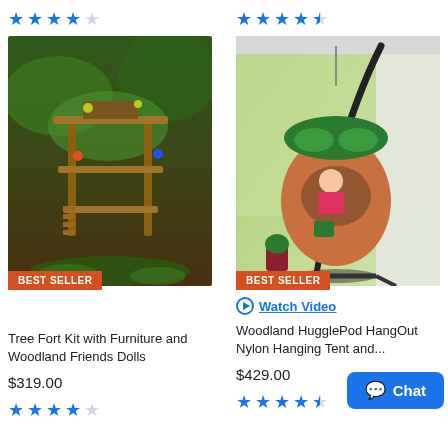[Figure (other): Star rating: 4 out of 5 stars (left product, top)]
[Figure (other): Star rating: 4.5 out of 5 stars (right product, top)]
[Figure (photo): Tree Fort Kit with Furniture and Woodland Friends Dolls product image with BEST SELLER badge]
[Figure (photo): Woodland HugglePod HangOut Nylon Hanging Tent product image with BEST SELLER badge]
Watch Video
Tree Fort Kit with Furniture and Woodland Friends Dolls
Woodland HugglePod HangOut Nylon Hanging Tent and...
$319.00
$429.00
[Figure (other): Star rating: 4 out of 5 stars (left product, bottom)]
[Figure (other): Star rating: 4.5 out of 5 stars (right product, bottom)]
Chat